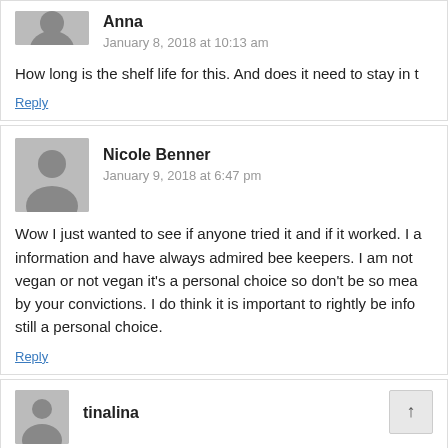How long is the shelf life for this. And does it need to stay in t
Reply
Nicole Benner
January 9, 2018 at 6:47 pm
Wow I just wanted to see if anyone tried it and if it worked. I a information and have always admired bee keepers. I am not vegan or not vegan it's a personal choice so don't be so mea by your convictions. I do think it is important to rightly be info still a personal choice.
Reply
tinalina